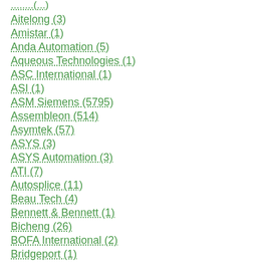... (...)
Aitelong (3)
Amistar (1)
Anda Automation (5)
Aqueous Technologies (1)
ASC International (1)
ASI (1)
ASM Siemens (5795)
Assembleon (514)
Asymtek (57)
ASYS (3)
ASYS Automation (3)
ATI (7)
Autosplice (11)
Beau Tech (4)
Bennett & Bennett (1)
Bicheng (26)
BOFA International (2)
Bridgeport (1)